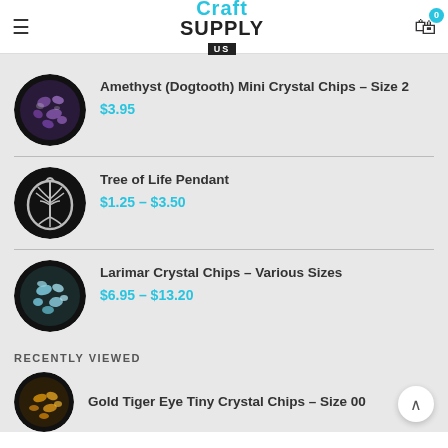[Figure (logo): Craft Supply Us logo with cyan 'Craft' text and bold black 'SUPPLY US' below]
Amethyst (Dogtooth) Mini Crystal Chips - Size 2
$3.95
Tree of Life Pendant
$1.25 – $3.50
Larimar Crystal Chips - Various Sizes
$6.95 – $13.20
RECENTLY VIEWED
Gold Tiger Eye Tiny Crystal Chips - Size 00